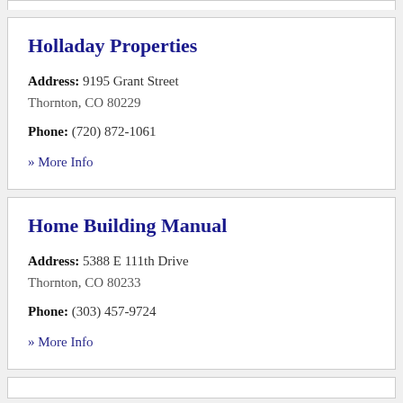Holladay Properties
Address: 9195 Grant Street
Thornton, CO 80229
Phone: (720) 872-1061
» More Info
Home Building Manual
Address: 5388 E 111th Drive
Thornton, CO 80233
Phone: (303) 457-9724
» More Info